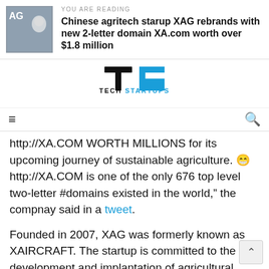YOU ARE READING
Chinese agritech starup XAG rebrands with new 2-letter domain XA.com worth over $1.8 million
[Figure (logo): Tech Startups logo: bold TS monogram in black and blue with 'TECH STARTUPS' text below]
http://XA.COM WORTH MILLIONS for its upcoming journey of sustainable agriculture. 😁 http://XA.COM is one of the only 676 top level two-letter #domains existed in the world," the compnay said in a tweet.
Founded in 2007, XAG was formerly known as XAIRCRAFT. The startup is committed to the development and implantation of agricultural